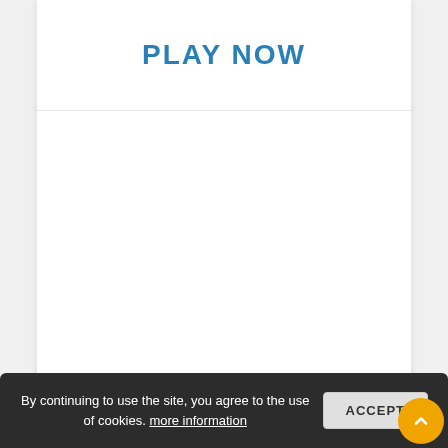PLAY NOW
By continuing to use the site, you agree to the use of cookies. more information
ACCEPT